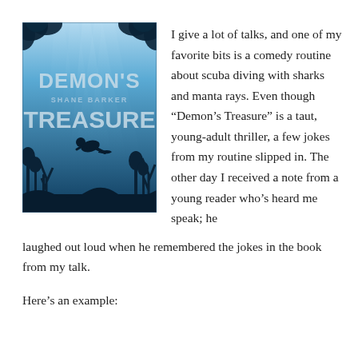[Figure (illustration): Book cover of 'Demon's Treasure' by Shane Barker. Underwater scene with blue tones, silhouettes of coral and sea plants, a scuba diver swimming, and light rays filtering from above. Title text 'DEMON'S TREASURE' and author name 'SHANE BARKER' displayed prominently.]
I give a lot of talks, and one of my favorite bits is a comedy routine about scuba diving with sharks and manta rays. Even though “Demon’s Treasure” is a taut, young-adult thriller, a few jokes from my routine slipped in. The other day I received a note from a young reader who’s heard me speak; he laughed out loud when he remembered the jokes in the book from my talk.
Here’s an example: